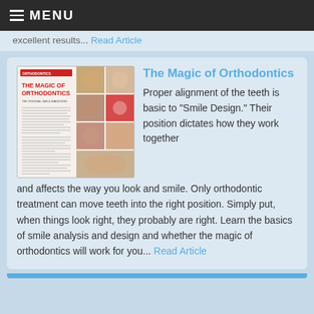≡ MENU
excellent results... Read Article
[Figure (illustration): Magazine cover for 'The Magic of Orthodontics - The Original Smile Makeover' showing a collage of people smiling and receiving dental treatment]
The Magic of Orthodontics
Proper alignment of the teeth is basic to "Smile Design." Their position dictates how they work together and affects the way you look and smile. Only orthodontic treatment can move teeth into the right position. Simply put, when things look right, they probably are right. Learn the basics of smile analysis and design and whether the magic of orthodontics will work for you... Read Article